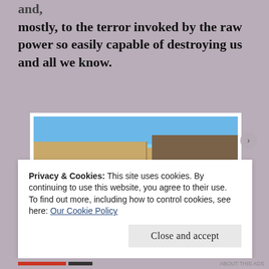and, mostly, to the terror invoked by the raw power so easily capable of destroying us and all we know.
[Figure (photo): Stone fortress walls with ocean waves crashing at the base, blue sky above. Large ancient stone blocks form two walls meeting at an angle, with white surf visible below.]
Privacy & Cookies: This site uses cookies. By continuing to use this website, you agree to their use.
To find out more, including how to control cookies, see here: Our Cookie Policy
Close and accept